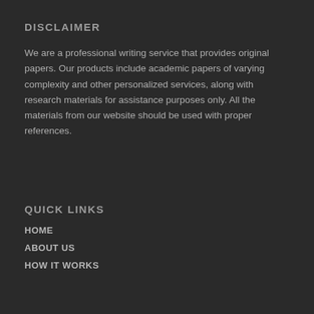DISCLAIMER
We are a professional writing service that provides original papers. Our products include academic papers of varying complexity and other personalized services, along with research materials for assistance purposes only. All the materials from our website should be used with proper references.
QUICK LINKS
HOME
ABOUT US
HOW IT WORKS